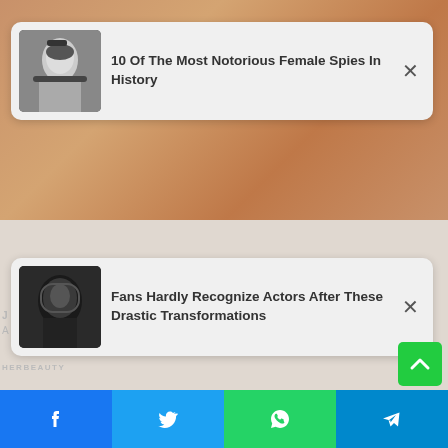[Figure (screenshot): Ad card overlay: black and white photo of a woman in military cap. Ad title: 10 Of The Most Notorious Female Spies In History. Close (X) button.]
[Figure (screenshot): Ad card overlay: photo of a person in a dark hooded costume, possibly a movie character. Ad title: Fans Hardly Recognize Actors After These Drastic Transformations. Close (X) button.]
J... A... Best Kept Fitness Secrets HERBEAUTY
[Figure (photo): Close-up photo of a man with blonde hair wearing a black face mask, with light blue sky background.]
[Figure (screenshot): Social share bar with Facebook (blue), Twitter (light blue), WhatsApp (green), and Telegram (blue/teal) buttons with respective icons.]